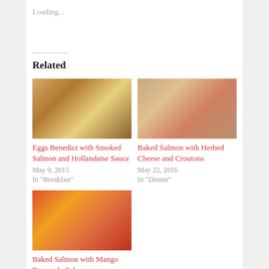Loading...
Related
[Figure (photo): Eggs Benedict with Smoked Salmon and Hollandaise Sauce - food photo]
Eggs Benedict with Smoked Salmon and Hollandaise Sauce
May 9, 2015
In "Breakfast"
[Figure (photo): Baked Salmon with Herbed Cheese and Croutons - food photo]
Baked Salmon with Herbed Cheese and Croutons
May 22, 2016
In "Dinner"
[Figure (photo): Baked Salmon with Mango Pineapple Salsa - food photo]
Baked Salmon with Mango Pineapple Salsa